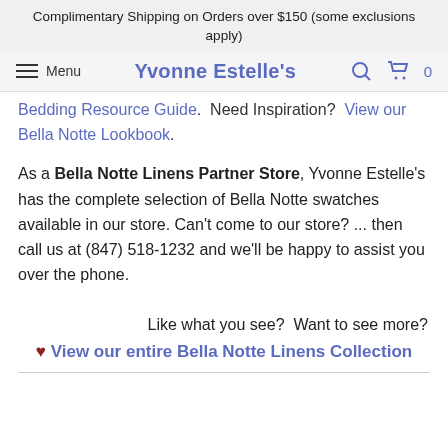Complimentary Shipping on Orders over $150 (some exclusions apply)
Menu  Yvonne Estelle's  [search] [cart] 0
Bedding Resource Guide.  Need Inspiration?  View our Bella Notte Lookbook.
As a Bella Notte Linens Partner Store, Yvonne Estelle's has the complete selection of Bella Notte swatches available in our store. Can't come to our store? ... then call us at (847) 518-1232 and we'll be happy to assist you over the phone.
Like what you see?  Want to see more?
♥ View our entire Bella Notte Linens Collection